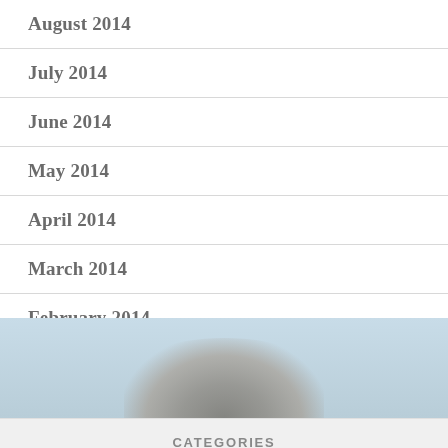August 2014
July 2014
June 2014
May 2014
April 2014
March 2014
February 2014
January 2014
[Figure (photo): Blurred image of an owl or bird figure against a light blue background]
CATEGORIES
Alternative Education